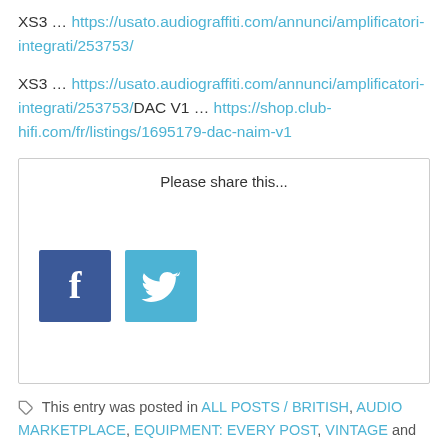XS3 … https://usato.audiograffiti.com/annunci/amplificatori-integrati/253753/
XS3 … https://usato.audiograffiti.com/annunci/amplificatori-integrati/253753/DAC V1 … https://shop.club-hifi.com/fr/listings/1695179-dac-naim-v1
[Figure (other): Social share box with 'Please share this...' heading and Facebook and Twitter icon buttons]
This entry was posted in ALL POSTS / BRITISH, AUDIO MARKETPLACE, EQUIPMENT: EVERY POST, VINTAGE and